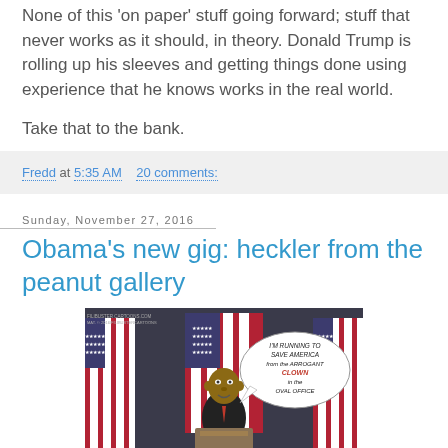None of this 'on paper' stuff going forward; stuff that never works as it should, in theory. Donald Trump is rolling up his sleeves and getting things done using experience that he knows works in the real world.
Take that to the bank.
Fredd at 5:35 AM   20 comments:
Sunday, November 27, 2016
Obama's new gig: heckler from the peanut gallery
[Figure (illustration): Political cartoon showing a caricature of Obama at a podium with American flags, with a speech bubble reading 'I'M RUNNING TO SAVE AMERICA from the ARROGANT CLOWN in the OVAL OFFICE']